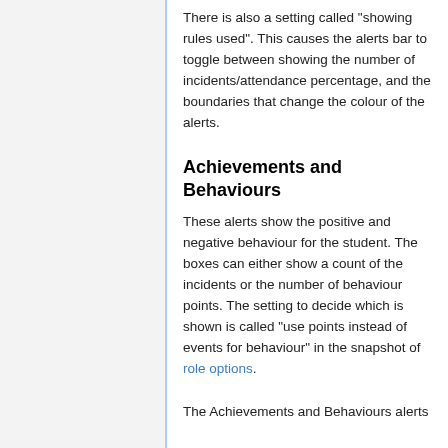There is also a setting called "showing rules used". This causes the alerts bar to toggle between showing the number of incidents/attendance percentage, and the boundaries that change the colour of the alerts.
Achievements and Behaviours
These alerts show the positive and negative behaviour for the student. The boxes can either show a count of the incidents or the number of behaviour points. The setting to decide which is shown is called "use points instead of events for behaviour" in the snapshot of role options.
The Achievements and Behaviours alerts